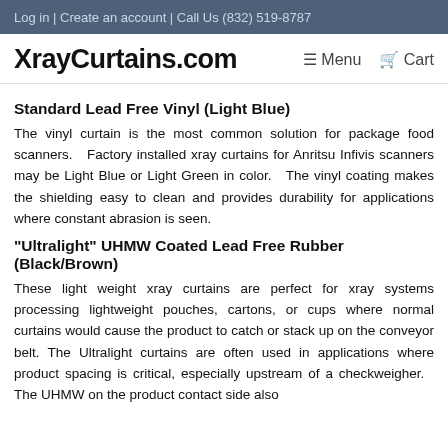Log in | Create an account | Call Us (832) 519-8787
XrayCurtains.com
Standard Lead Free Vinyl (Light Blue)
The vinyl curtain is the most common solution for package food scanners. Factory installed xray curtains for Anritsu Infivis scanners may be Light Blue or Light Green in color. The vinyl coating makes the shielding easy to clean and provides durability for applications where constant abrasion is seen.
"Ultralight" UHMW Coated Lead Free Rubber (Black/Brown)
These light weight xray curtains are perfect for xray systems processing lightweight pouches, cartons, or cups where normal curtains would cause the product to catch or stack up on the conveyor belt. The Ultralight curtains are often used in applications where product spacing is critical, especially upstream of a checkweigher. The UHMW on the product contact side also